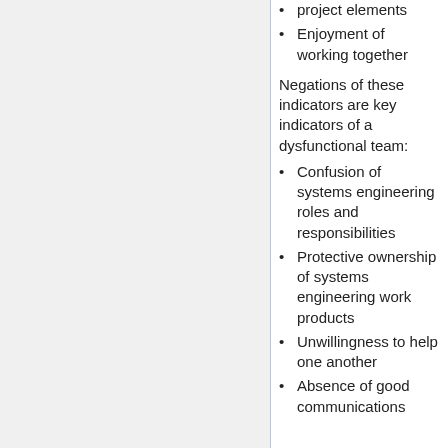project elements
Enjoyment of working together
Negations of these indicators are key indicators of a dysfunctional team:
Confusion of systems engineering roles and responsibilities
Protective ownership of systems engineering work products
Unwillingness to help one another
Absence of good communications